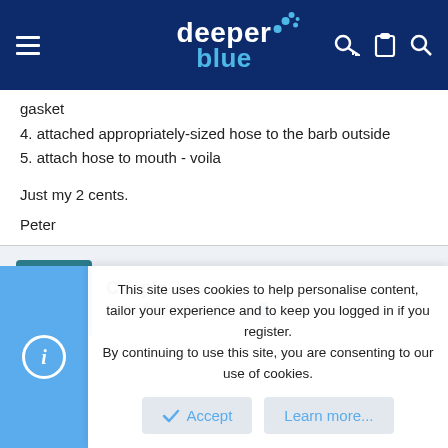[Figure (logo): DeeperBlue website logo with blue bubbles on dark navy header with hamburger menu and icons]
gasket
4. attached appropriately-sized hose to the barb outside
5. attach hose to mouth - voila
Just my 2 cents.
Peter
Crispin
Spearfisherman ;=- -->
This site uses cookies to help personalise content, tailor your experience and to keep you logged in if you register.
By continuing to use this site, you are consenting to our use of cookies.